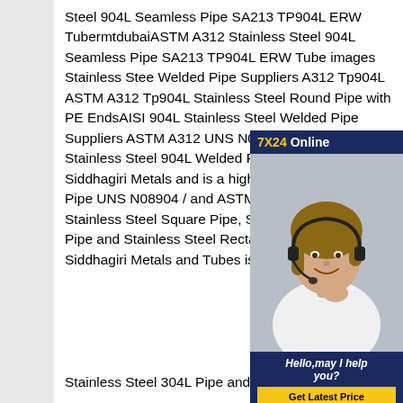Steel 904L Seamless Pipe SA213 TP904L ERW TubermtdubaiASTM A312 Stainless Steel 904L Seamless Pipe SA213 TP904L ERW Tube images Stainless Steel Welded Pipe Suppliers A312 Tp904L ASTM A312 Tp904L Stainless Steel Round Pipe with PE EndsAISI 904L Stainless Steel Welded Pipe Suppliers ASTM A312 UNS N08904 TP904L Stainless Steel 904L Welded Pipe supplied by Siddhagiri Metals and is a high quality Stainless Steel Pipe UNS N08904 / and ASTM A312, forms like Stainless Steel Square Pipe, Stainless Steel Round Pipe and Stainless Steel Rectangular Pipe. . Siddhagiri Metals and Tubes is
[Figure (photo): Chat widget overlay showing a customer service representative wearing a headset. The widget has a dark navy blue background with '7X24 Online' text header (7X24 in yellow), a photo of a smiling woman with a headset, italic text 'Hello, may I help you?' and a yellow 'Get Latest Price' button.]
Stainless Steel 304L Pipe and ASTM